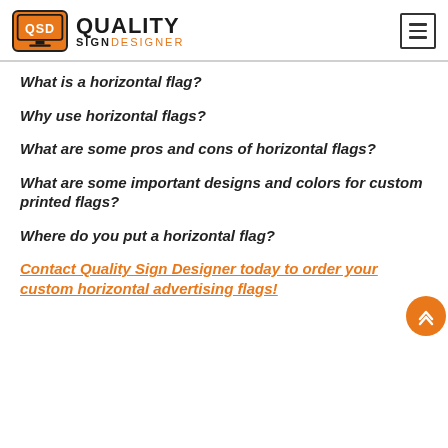Quality Sign Designer
What is a horizontal flag?
Why use horizontal flags?
What are some pros and cons of horizontal flags?
What are some important designs and colors for custom printed flags?
Where do you put a horizontal flag?
Contact Quality Sign Designer today to order your custom horizontal advertising flags!